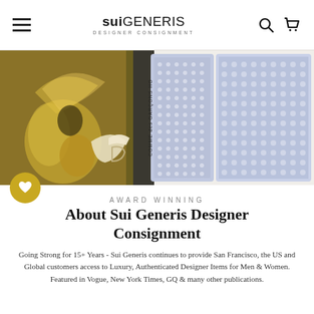sui GENERIS DESIGNER CONSIGNMENT
[Figure (photo): Close-up photo of a gold/brass decorative figurine (angel or bird) alongside Comme des Garçons playing card packaging with blue checkered pattern]
AWARD WINNING
About Sui Generis Designer Consignment
Going Strong for 15+ Years - Sui Generis continues to provide San Francisco, the US and Global customers access to Luxury, Authenticated Designer Items for Men & Women. Featured in Vogue, New York Times, GQ & many other publications.